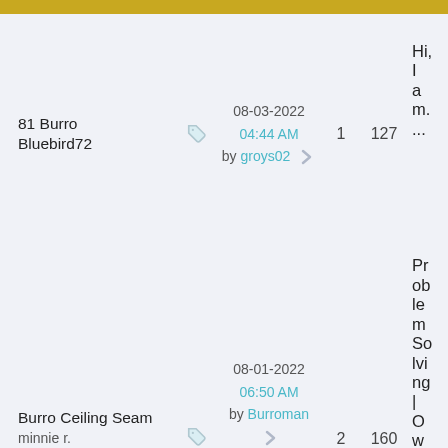am...
81 Burro Bluebird72 | 08-03-2022 04:44 AM by groys02 | 1 | 127 | Hi, I a m. ...
Burro Ceiling Seam minnie r. | 08-01-2022 06:50 AM by Burroman | 2 | 160 | Problem Solving | Owners Helping Owners